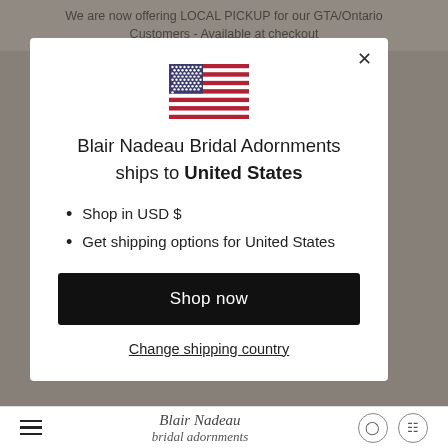We are now offering LOCAL PICKUP for our GTA/Ontario Customers - Available at checkout
[Figure (illustration): US flag SVG illustration centered in modal]
Blair Nadeau Bridal Adornments ships to United States
Shop in USD $
Get shipping options for United States
Shop now
Change shipping country
Blair Nadeau bridal adornments